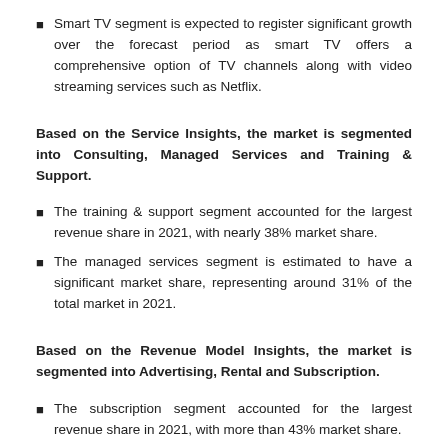Smart TV segment is expected to register significant growth over the forecast period as smart TV offers a comprehensive option of TV channels along with video streaming services such as Netflix.
Based on the Service Insights, the market is segmented into Consulting, Managed Services and Training & Support.
The training & support segment accounted for the largest revenue share in 2021, with nearly 38% market share.
The managed services segment is estimated to have a significant market share, representing around 31% of the total market in 2021.
Based on the Revenue Model Insights, the market is segmented into Advertising, Rental and Subscription.
The subscription segment accounted for the largest revenue share in 2021, with more than 43% market share.
Advertising is one of the common forms of monetizing streaming